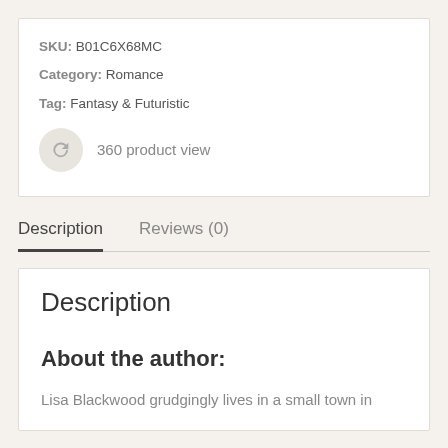SKU: B01C6X68MC
Category: Romance
Tag: Fantasy & Futuristic
360 product view
Description
Reviews (0)
Description
About the author:
Lisa Blackwood grudgingly lives in a small town in